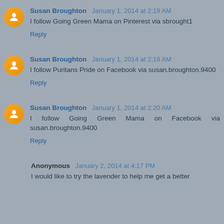Susan Broughton January 1, 2014 at 2:19 AM
I follow Going Green Mama on Pinterest via sbrought1
Reply
Susan Broughton January 1, 2014 at 2:19 AM
I follow Puritans Pride on Facebook via susan.broughton.9400
Reply
Susan Broughton January 1, 2014 at 2:20 AM
I follow Going Green Mama on Facebook via susan.broughton.9400
Reply
Anonymous January 2, 2014 at 4:17 PM
I would like to try the lavender to help me get a better